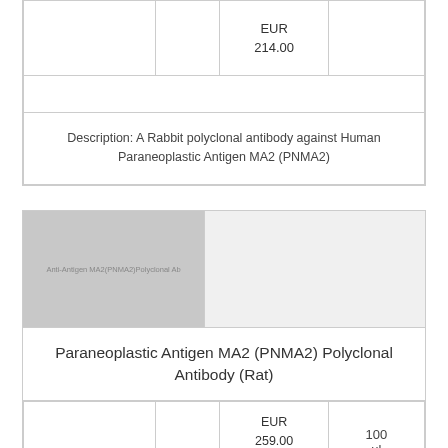|  |  | Price |  |
| --- | --- | --- | --- |
|  |  | EUR
214.00 |  |
| Description: A Rabbit polyclonal antibody against Human Paraneoplastic Antigen MA2 (PNMA2) |  |  |  |
[Figure (photo): Product image placeholder for Paraneoplastic Antigen MA2 (PNMA2) Polyclonal Antibody (Rat)]
Paraneoplastic Antigen MA2 (PNMA2) Polyclonal Antibody (Rat)
|  |  | Price | Size |
| --- | --- | --- | --- |
|  |  | EUR
259.00 | 100 |
|  |  | EUR | ul |